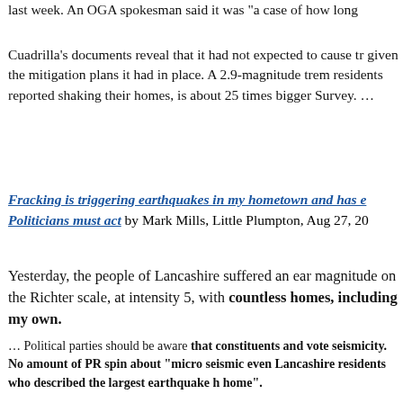last week. An OGA spokesman said it was "a case of how long
Cuadrilla's documents reveal that it had not expected to cause tr given the mitigation plans it had in place. A 2.9-magnitude trem residents reported shaking their homes, is about 25 times bigger Survey. …
Fracking is triggering earthquakes in my hometown and has e Politicians must act by Mark Mills, Little Plumpton, Aug 27, 20
Yesterday, the people of Lancashire suffered an ear magnitude on the Richter scale, at intensity 5, with countless homes, including my own.
… Political parties should be aware that constituents and vote seismicity. No amount of PR spin about "micro seismic even Lancashire residents who described the largest earthquake h home".